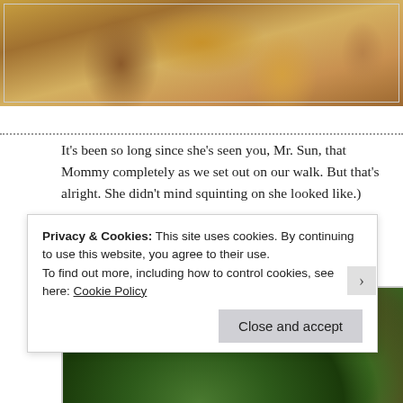[Figure (photo): Partial photo of a fluffy orange/brown dog with a collar, cropped at top of page]
It's been so long since she's seen you, Mr. Sun, that Mommy completely as we set out on our walk. But that's alright. She didn't mind squinting on she looked like.)
[Figure (photo): Photo of lush green bushes/trees with blue sky visible, outdoor nature scene]
Privacy & Cookies: This site uses cookies. By continuing to use this website, you agree to their use.
To find out more, including how to control cookies, see here: Cookie Policy
Close and accept